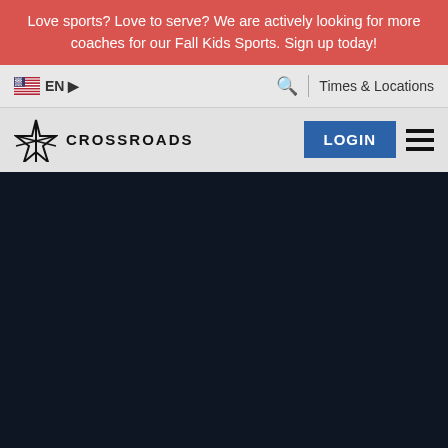Love sports? Love to serve? We are actively looking for more coaches for our Fall Kids Sports. Sign up today!
EN ▶   🔍 | Times & Locations
[Figure (logo): Crossroads church logo with geometric star/cross icon and text CROSSROADS, plus LOGIN button and hamburger menu]